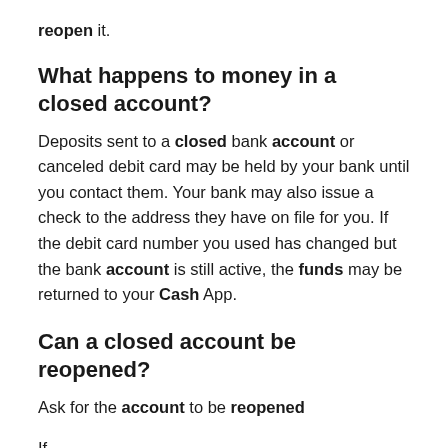reopen it.
What happens to money in a closed account?
Deposits sent to a closed bank account or canceled debit card may be held by your bank until you contact them. Your bank may also issue a check to the address they have on file for you. If the debit card number you used has changed but the bank account is still active, the funds may be returned to your Cash App.
Can a closed account be reopened?
Ask for the account to be reopened